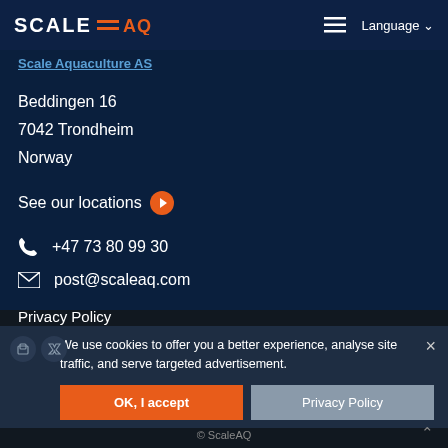SCALE AQ — Language
Scale Aquaculture AS
Beddingen 16
7042 Trondheim
Norway
See our locations →
+47 73 80 99 30
post@scaleaq.com
Privacy Policy
We use cookies to offer you a better experience, analyse site traffic, and serve targeted advertisement.
OK, I accept   Privacy Policy
© ScaleAQ